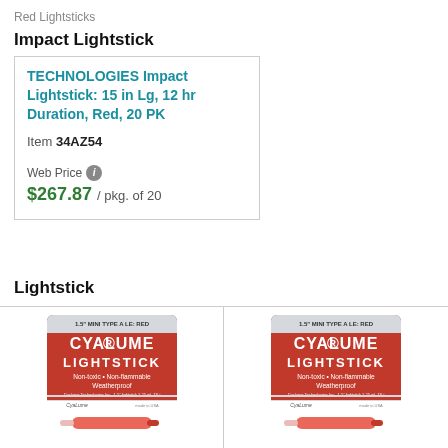Red Lightsticks
Impact Lightstick
TECHNOLOGIES Impact Lightstick: 15 in Lg, 12 hr Duration, Red, 20 PK
Item 34AZ54
Web Price $267.87 / pkg. of 20
Lightstick
[Figure (photo): Two Cyalume 1.5 inch Mini Type A lightstick packages (red) shown side by side, each with a red glow stick below the package.]